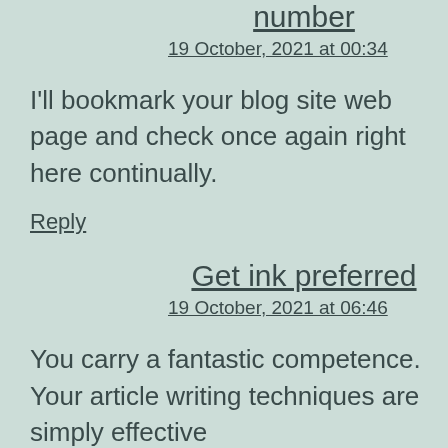number
19 October, 2021 at 00:34
I'll bookmark your blog site web page and check once again right here continually.
Reply
Get ink preferred
19 October, 2021 at 06:46
You carry a fantastic competence. Your article writing techniques are simply effective